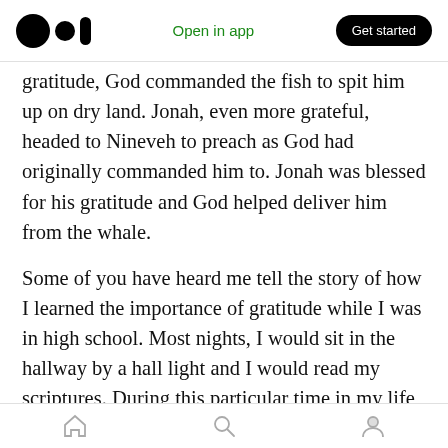Medium logo | Open in app | Get started
gratitude, God commanded the fish to spit him up on dry land. Jonah, even more grateful, headed to Nineveh to preach as God had originally commanded him to. Jonah was blessed for his gratitude and God helped deliver him from the whale.
Some of you have heard me tell the story of how I learned the importance of gratitude while I was in high school. Most nights, I would sit in the hallway by a hall light and I would read my scriptures. During this particular time in my life, I wasn't feeling as close to Heavenly Father as I
Home | Search | Profile